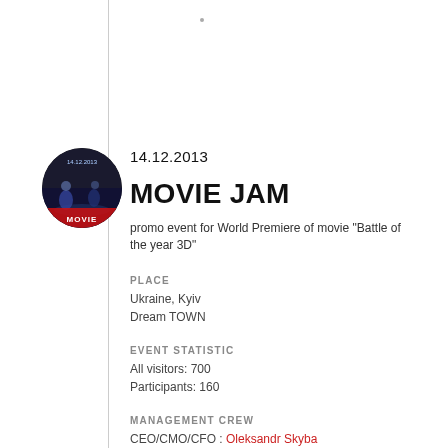[Figure (logo): Circular logo image for Movie Jam event showing people and text '14 12 2013 MOVIE JAM']
14.12.2013
MOVIE JAM
promo event for World Premiere of movie "Battle of the year 3D"
PLACE
Ukraine, Kyiv
Dream TOWN
EVENT STATISTIC
All visitors: 700
Participants: 160
MANAGEMENT CREW
CEO/CMO/CFO : Oleksandr Skyba
CTO: Kostiantyn Trofimov
Admin crew: 4